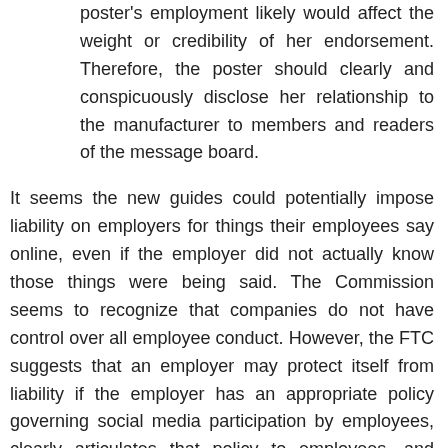poster's employment likely would affect the weight or credibility of her endorsement. Therefore, the poster should clearly and conspicuously disclose her relationship to the manufacturer to members and readers of the message board.
It seems the new guides could potentially impose liability on employers for things their employees say online, even if the employer did not actually know those things were being said. The Commission seems to recognize that companies do not have control over all employee conduct. However, the FTC suggests that an employer may protect itself from liability if the employer has an appropriate policy governing social media participation by employees, clearly articulates that policy to employees, and consistently enforces that policy. The FTC explains:
With respect to Example 8 [laid out above], one commenter asserted that if the employer has instituted policies and practices concerning "social media participation" by its employees, and